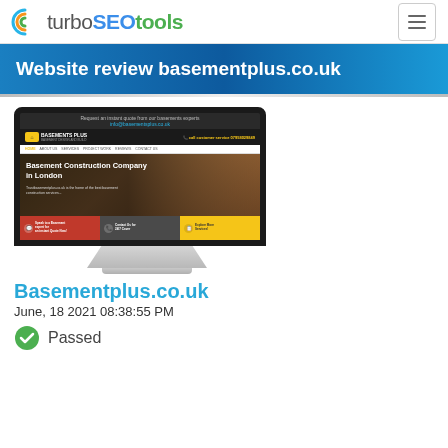turboSEOtools
Website review basementplus.co.uk
[Figure (screenshot): Screenshot of basementplus.co.uk website displayed on a monitor mockup. Shows a construction company homepage with dark header, navigation bar, hero image of basement construction, and three CTA buttons (red, gray, yellow).]
Basementplus.co.uk
June, 18 2021 08:38:55 PM
Passed